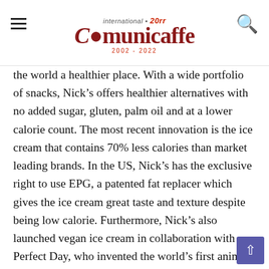international Comunicaffe 20rr 2002-2022
the world a healthier place. With a wide portfolio of snacks, Nick's offers healthier alternatives with no added sugar, gluten, palm oil and at a lower calorie count. The most recent innovation is the ice cream that contains 70% less calories than market leading brands. In the US, Nick's has the exclusive right to use EPG, a patented fat replacer which gives the ice cream great taste and texture despite being low calorie. Furthermore, Nick's also launched vegan ice cream in collaboration with Perfect Day, who invented the world's first animal-free whey protein that's identical to protein in cow's milk but without any cows. Nick's was introduced in the US by the end of 2019 and during the second year the company had already a turnover of approximately 10 million USD.
“The food business is undergoing a large paradigm shift